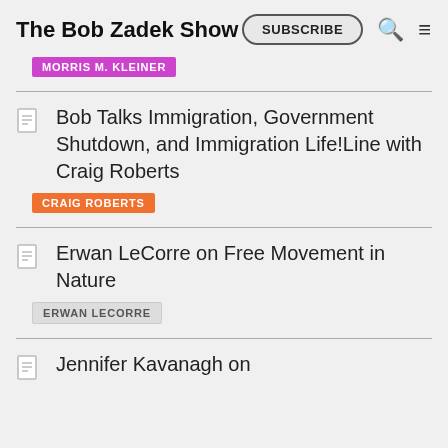The Bob Zadek Show
MORRIS M. KLEINER
Bob Talks Immigration, Government Shutdown, and Immigration Life!Line with Craig Roberts
CRAIG ROBERTS
Erwan LeCorre on Free Movement in Nature
ERWAN LECORRE
Jennifer Kavanagh on